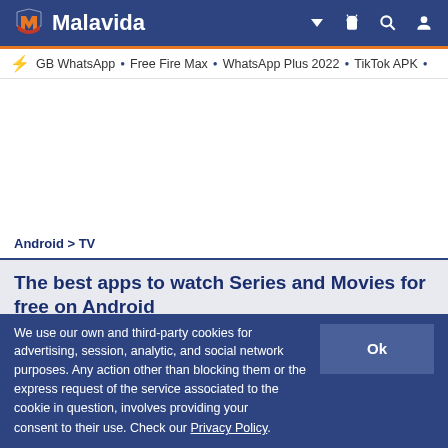Malavida
GB WhatsApp • Free Fire Max • WhatsApp Plus 2022 • TikTok APK •
Android > TV
The best apps to watch Series and Movies for free on Android
A long list of free apps to watch the latest episodes of your favorite series and the best movies, whether classics or
We use our own and third-party cookies for advertising, session, analytic, and social network purposes. Any action other than blocking them or the express request of the service associated to the cookie in question, involves providing your consent to their use. Check our Privacy Policy.